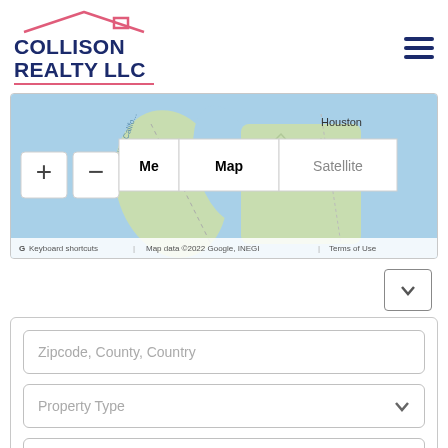[Figure (logo): Collison Realty LLC logo with pink house roof silhouette above dark blue bold text reading COLLISON REALTY LLC, with pink underline.]
[Figure (screenshot): Google Maps screenshot showing Mexico, Gulf of California, and Texas/Houston area with map/satellite toggle buttons and zoom controls.]
[Figure (other): Dropdown chevron button (v-shape arrow) on white background with border.]
[Figure (screenshot): Search form with three fields: Zipcode County Country text input, Property Type dropdown, For Sale dropdown.]